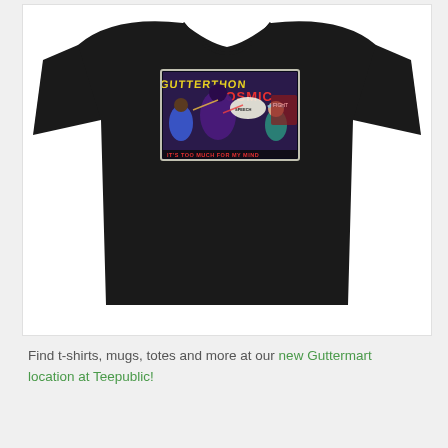[Figure (photo): A black t-shirt with a comic book style graphic printed on the chest. The graphic reads 'GUTTERTHON COSMIC' in yellow and red lettering, with colorful comic-book style characters and artwork, and text at the bottom reading 'IT'S TOO MUCH FOR MY MIND'.]
Find t-shirts, mugs, totes and more at our new Guttermart location at Teepublic!